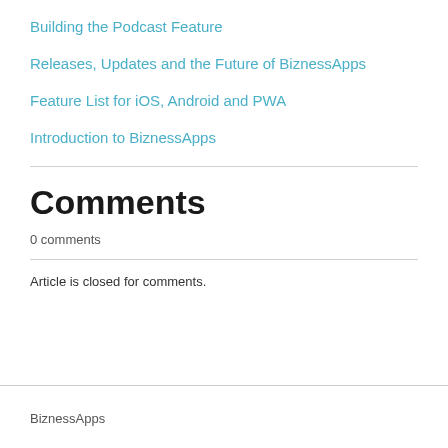Building the Podcast Feature
Releases, Updates and the Future of BiznessApps
Feature List for iOS, Android and PWA
Introduction to BiznessApps
Comments
0 comments
Article is closed for comments.
BiznessApps